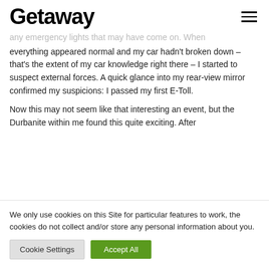Getaway
any emergency lights that may have come on. When everything appeared normal and my car hadn't broken down – that's the extent of my car knowledge right there – I started to suspect external forces. A quick glance into my rear-view mirror confirmed my suspicions: I passed my first E-Toll.
Now this may not seem like that interesting an event, but the Durbanite within me found this quite exciting. After
We only use cookies on this Site for particular features to work, the cookies do not collect and/or store any personal information about you.
Cookie Settings | Accept All